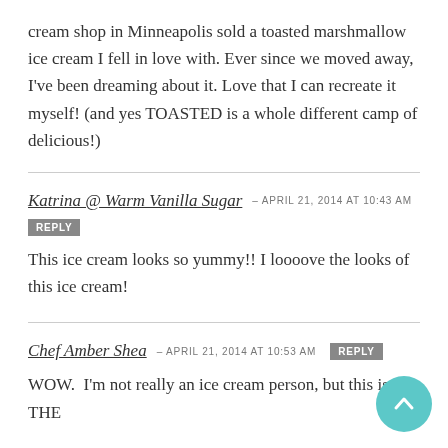cream shop in Minneapolis sold a toasted marshmallow ice cream I fell in love with. Ever since we moved away, I've been dreaming about it. Love that I can recreate it myself! (and yes TOASTED is a whole different camp of delicious!)
Katrina @ Warm Vanilla Sugar – APRIL 21, 2014 at 10:43 AM
REPLY
This ice cream looks so yummy!! I loooove the looks of this ice cream!
Chef Amber Shea – APRIL 21, 2014 at 10:53 AM REPLY
WOW.  I'm not really an ice cream person, but this is THE